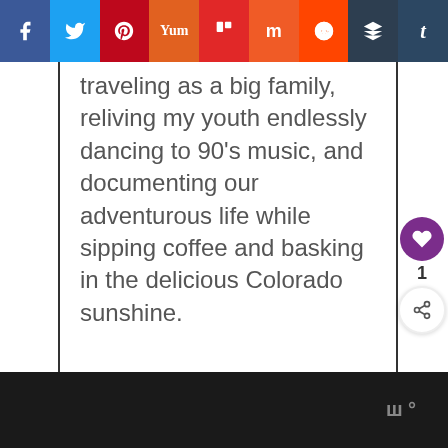[Figure (screenshot): Social media sharing toolbar with icons for Facebook, Twitter, Pinterest, Yummly, Flipboard, Mix, Reddit, Buffer, and Tumblr]
traveling as a big family, reliving my youth endlessly dancing to 90's music, and documenting our adventurous life while sipping coffee and basking in the delicious Colorado sunshine.
[Figure (screenshot): Footer bar with Tailwind logo/watermark on dark background]